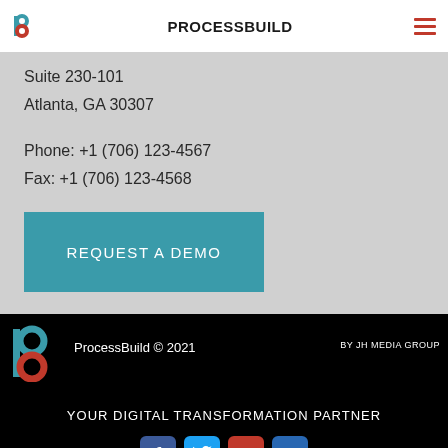PROCESSBUILD
Suite 230-101
Atlanta, GA 30307
Phone: +1 (706) 123-4567
Fax: +1 (706) 123-4568
REQUEST A DEMO
ProcessBuild © 2021
BY JH MEDIA GROUP
YOUR DIGITAL TRANSFORMATION PARTNER
[Figure (logo): Social media icons: Facebook, Twitter, YouTube, LinkedIn]